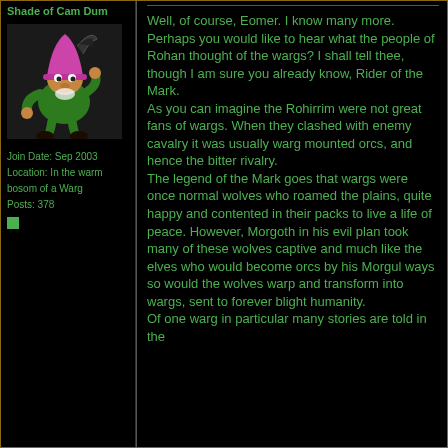Shade of Cam Dum
[Figure (illustration): Cartoon gnome character wearing a pink hat and green outfit, crouching pose]
Join Date: Sep 2003
Location: In the warm bosom of a Warg
Posts: 378
Well, of course, Eomer. I know many more. Perhaps you would like to hear what the people of Rohan thought of the wargs? I shall tell thee, though I am sure you already know, Rider of the Mark.
As you can imagine the Rohirrim were not great fans of wargs. When they clashed with enemy cavalry it was usually warg mounted orcs, and hence the bitter rivalry.
The legend of the Mark goes that wargs were once normal wolves who roamed the plains, quite happy and contented in their packs to live a life of peace. However, Morgoth in his evil plan took many of these wolves captive and much like the elves who would become orcs by his Morgul ways so would the wolves warp and transform into wargs, sent to forever blight humanity.
Of one warg in particular many stories are told in the